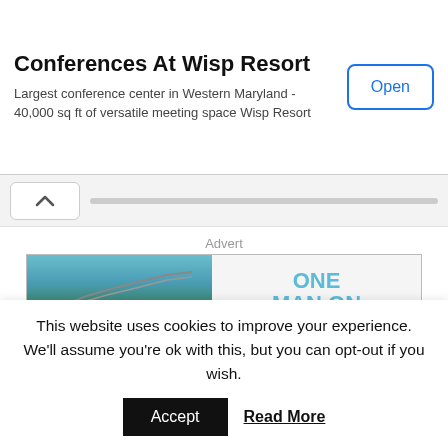[Figure (screenshot): Advertisement banner for Conferences At Wisp Resort with Open button and ad icons]
Conferences At Wisp Resort
Largest conference center in Western Maryland - 40,000 sq ft of versatile meeting space Wisp Resort
[Figure (screenshot): Scroll bar area with chevron up button and horizontal scrollbar track]
Advert
[Figure (illustration): Book advertisement for 'One Man on a Bike' by Richard Georgiou showing book cover on left and title/author text on right with CLICK button]
This website uses cookies to improve your experience. We'll assume you're ok with this, but you can opt-out if you wish.
Accept  Read More